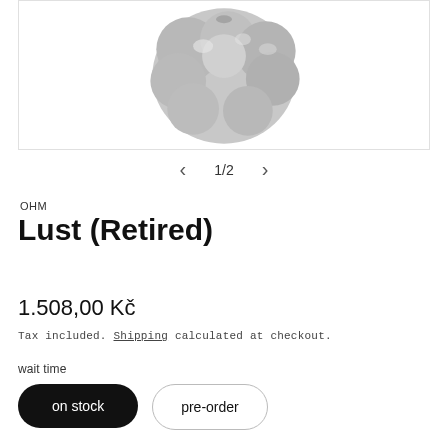[Figure (photo): Grayscale photo of a decorative bead charm (Lust, Retired) — a rounded, organic-shaped silver/pewter bead with bubble-like protrusions, photographed against a white background.]
1 / 2
OHM
Lust (Retired)
1.508,00 Kč
Tax included. Shipping calculated at checkout.
wait time
on stock
pre-order